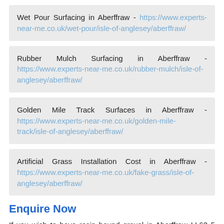Wet Pour Surfacing in Aberffraw - https://www.experts-near-me.co.uk/wet-pour/isle-of-anglesey/aberffraw/
Rubber Mulch Surfacing in Aberffraw - https://www.experts-near-me.co.uk/rubber-mulch/isle-of-anglesey/aberffraw/
Golden Mile Track Surfaces in Aberffraw - https://www.experts-near-me.co.uk/golden-mile-track/isle-of-anglesey/aberffraw/
Artificial Grass Installation Cost in Aberffraw - https://www.experts-near-me.co.uk/fake-grass/isle-of-anglesey/aberffraw/
Enquire Now
If you wish to have resin bound gravel in Aberffraw LL63 5 installed, make sure you enquire now.
Simply fill in the contact form presented on this page and we will